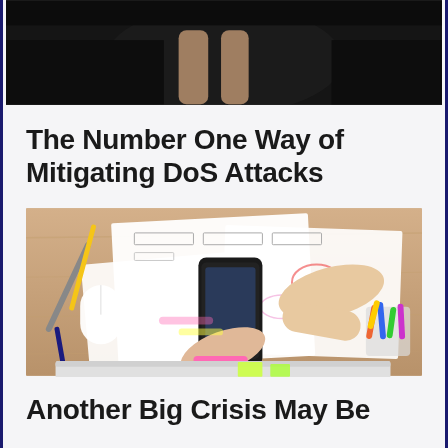[Figure (photo): Top portion of a photo showing a person seated on a dark couch, only legs/lower body visible, dark background]
The Number One Way of Mitigating DoS Attacks
[Figure (photo): Overhead view of a person working at a desk with papers showing UI wireframes, a smartphone, a mouse, pens and markers, and a laptop partially visible at bottom]
Another Big Crisis May Be